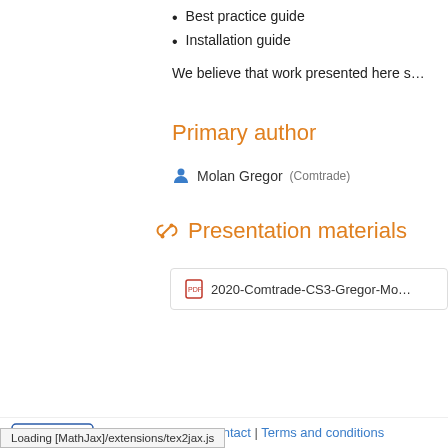Best practice guide
Installation guide
We believe that work presented here s…
Primary author
Molan Gregor (Comtrade)
Presentation materials
2020-Comtrade-CS3-Gregor-Mo…
Help | Contact | Terms and conditions
Powered by Indico v3.2.1-pre
| URL Shortener
Loading [MathJax]/extensions/tex2jax.js